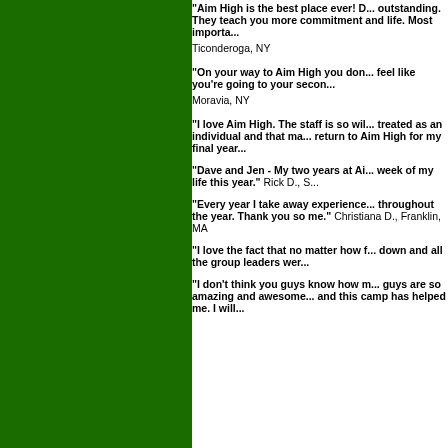"Aim High is the best place ever! D... outstanding. They teach you more commitment and life. Most importa... Ticonderoga, NY
"On your way to Aim High you don... feel like you're going to your secon... Moravia, NY
"I love Aim High. The staff is so wil... treated as an individual and that ma... return to Aim High for my final year...
"Dave and Jen - My two years at Ai... week of my life this year." Rick D., S...
"Every year I take away experience... throughout the year. Thank you so me." Christiana D., Franklin, MA
"I love the fact that no matter how f... down and all the group leaders wer...
"I don't think you guys know how m... guys are so amazing and awesome... and this camp has helped me. I will...